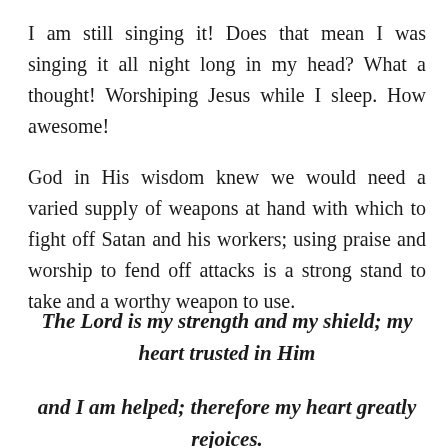I am still singing it! Does that mean I was singing it all night long in my head? What a thought! Worshiping Jesus while I sleep. How awesome!
God in His wisdom knew we would need a varied supply of weapons at hand with which to fight off Satan and his workers; using praise and worship to fend off attacks is a strong stand to take and a worthy weapon to use.
The Lord is my strength and my shield; my heart trusted in Him
and I am helped; therefore my heart greatly rejoices.